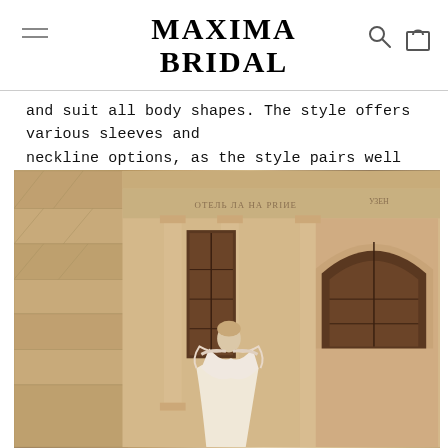MAXIMA BRIDAL
and suit all body shapes. The style offers various sleeves and neckline options, as the style pairs well with almost everything.
[Figure (photo): A bride in a white off-shoulder wedding gown with lace details, standing in front of an ornate classical European building facade with columns, arched doorways, and decorative stonework.]